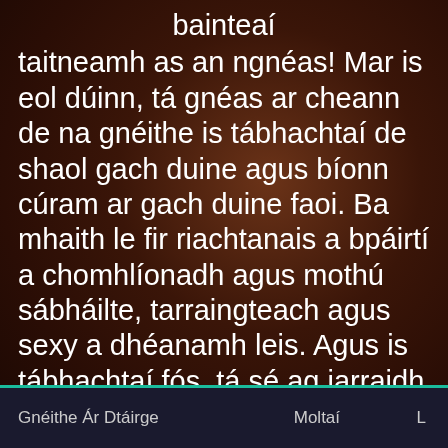bainteaí
taitneamh as an ngnéas! Mar is eol dúinn, tá gnéas ar cheann de na gnéithe is tábhachtaí de shaol gach duine agus bíonn cúram ar gach duine faoi. Ba mhaith le fir riachtanais a bpáirtí a chomhlíonadh agus mothú sábháilte, tarraingteach agus sexy a dhéanamh leis. Agus is tábhachtaí fós, tá sé ag iarraidh í a chomhlíonadh sa leaba, tá sé ag iarraidh í a shásamh agus
Gnéithe Ár Dtáirge    Moltaí    L